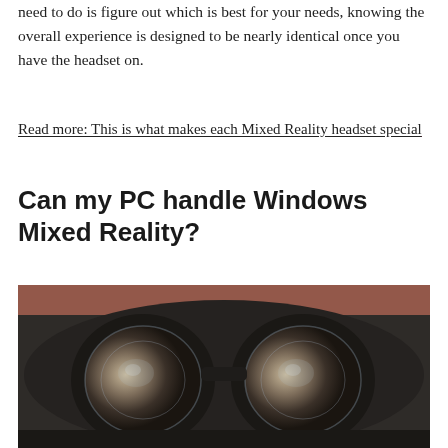need to do is figure out which is best for your needs, knowing the overall experience is designed to be nearly identical once you have the headset on.
Read more: This is what makes each Mixed Reality headset special
Can my PC handle Windows Mixed Reality?
[Figure (photo): Close-up photo of the interior lenses of a Windows Mixed Reality VR headset, showing two circular lenses on a dark housing, with a pink/warm background visible at the top.]